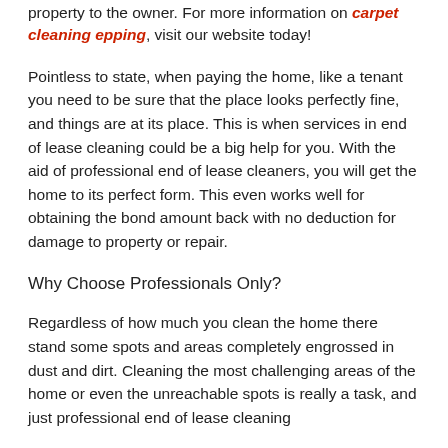property to the owner. For more information on carpet cleaning epping, visit our website today!
Pointless to state, when paying the home, like a tenant you need to be sure that the place looks perfectly fine, and things are at its place. This is when services in end of lease cleaning could be a big help for you. With the aid of professional end of lease cleaners, you will get the home to its perfect form. This even works well for obtaining the bond amount back with no deduction for damage to property or repair.
Why Choose Professionals Only?
Regardless of how much you clean the home there stand some spots and areas completely engrossed in dust and dirt. Cleaning the most challenging areas of the home or even the unreachable spots is really a task, and just professional end of lease cleaning